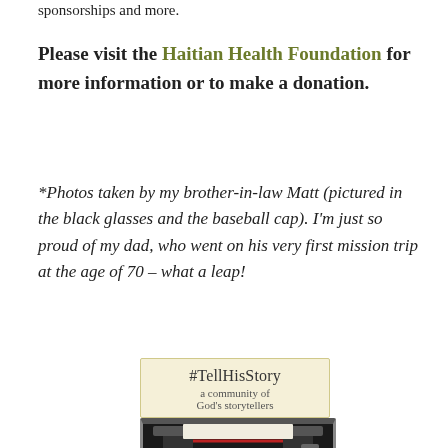sponsorships and more.
Please visit the Haitian Health Foundation for more information or to make a donation.
*Photos taken by my brother-in-law Matt (pictured in the black glasses and the baseball cap). I'm just so proud of my dad, who went on his very first mission trip at the age of 70 – what a leap!
[Figure (other): #TellHisStory badge with text 'a community of God's storytellers' and a typewriter image below]